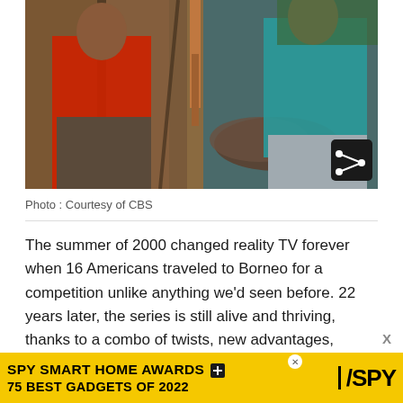[Figure (photo): Two people standing together in a rustic setting with wooden structures and old cannons in the background. Person on left wearing red shirt and shorts, person on right wearing teal/turquoise shirt with jeans. A share button icon is visible in the lower right corner of the photo.]
Photo : Courtesy of CBS
The summer of 2000 changed reality TV forever when 16 Americans traveled to Borneo for a competition unlike anything we'd seen before. 22 years later, the series is still alive and thriving, thanks to a combo of twists, new advantages, advanced strategy and the series' own adaptability. Host-turned-executive producer Jeff Probst isn't
[Figure (other): Advertisement banner: SPY SMART HOME AWARDS / 75 BEST GADGETS OF 2022 with SPY logo on yellow background]